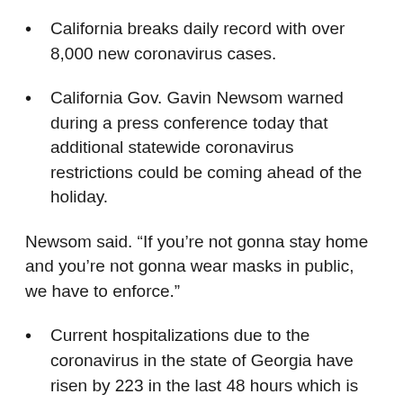California breaks daily record with over 8,000 new coronavirus cases.
California Gov. Gavin Newsom warned during a press conference today that additional statewide coronavirus restrictions could be coming ahead of the holiday.
Newsom said. “If you’re not gonna stay home and you’re not gonna wear masks in public, we have to enforce.”
Current hospitalizations due to the coronavirus in the state of Georgia have risen by 223 in the last 48 hours which is an increase of 18.04%. Current hospitalizations are at 1459 which is the highest